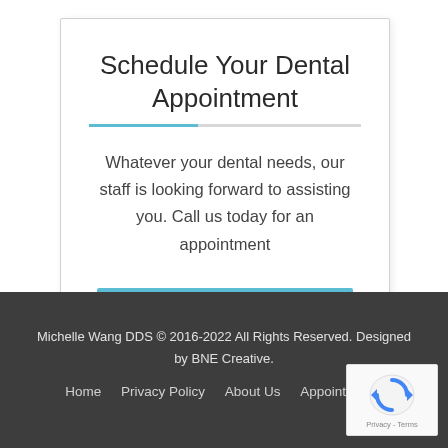Schedule Your Dental Appointment
Whatever your dental needs, our staff is looking forward to assisting you. Call us today for an appointment
Schedule Today!
Michelle Wang DDS © 2016-2022 All Rights Reserved. Designed by BNE Creative.
Home  Privacy Policy  About Us  Appointments